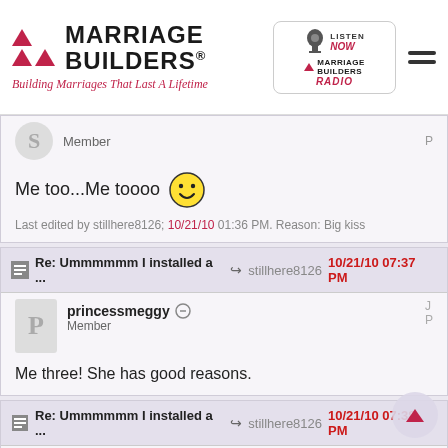Marriage Builders - Building Marriages That Last A Lifetime
Me too...Me toooo
Last edited by stillhere8126; 10/21/10 01:36 PM. Reason: Big kiss
Re: Ummmmmm I installed a ... → stillhere8126  10/21/10 07:37 PM
princessmeggy  Member
Me three! She has good reasons.
Re: Ummmmmm I installed a ... → stillhere8126  10/21/10 07:38 PM
Scotland OP  Member